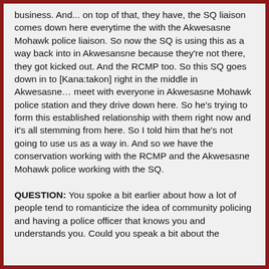business. And... on top of that, they have, the SQ liaison comes down here everytime the with the Akwesasne Mohawk police liaison. So now the SQ is using this as a way back into in Akwesansne because they're not there, they got kicked out. And the RCMP too. So this SQ goes down in to [Kana:takon] right in the middle in Akwesasne… meet with everyone in Akwesasne Mohawk police station and they drive down here. So he's trying to form this established relationship with them right now and it's all stemming from here. So I told him that he's not going to use us as a way in. And so we have the conservation working with the RCMP and the Akwesasne Mohawk police working with the SQ.
QUESTION: You spoke a bit earlier about how a lot of people tend to romanticize the idea of community policing and having a police officer that knows you and understands you. Could you speak a bit about the